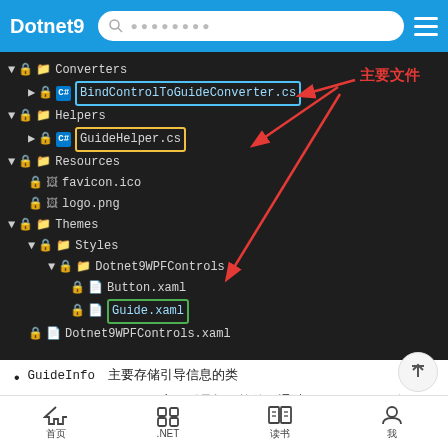Dotnet9
[Figure (screenshot): Visual Studio solution explorer showing file tree with Converters/BindControlToGuideConverter.cs (highlighted in blue), Helpers/GuideHelper.cs (highlighted in yellow), Resources/favicon.ico, Resources/logo.png, Themes/Styles/Dotnet9WPFControls/Button.xaml, Themes/Styles/Dotnet9WPFControls/Guide.xaml (highlighted in green), Dotnet9WPFControls.xaml. Red arrows pointing to files with Chinese label 主要文件 (main files).]
GuideInfo　主要存储引导信息的类
GuideHintControl　主要引导提示控件，通过 GuideInfo 驱动
GuideControl　主要控件，封装了引导功能，通过配置就能实现引导功能
GuideWindow　包含 GuideControl 的窗口，一般不需要
GuideControlBase　一些基类
首页  .NET  读书  我